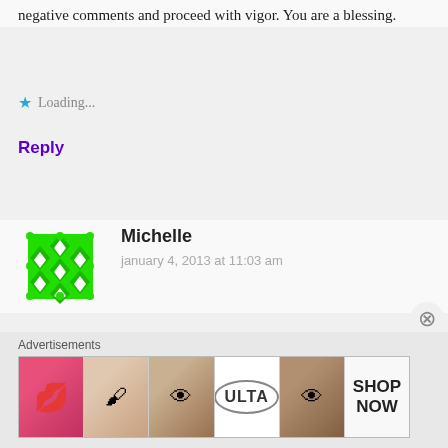negative comments and proceed with vigor. You are a blessing.
Loading...
Reply
[Figure (illustration): Green pixel/geometric avatar icon for user Michelle]
Michelle
january 4, 2013 at 11:03 am
I think you have the wrong scripture for 14b. I think 1Kings 4:21 is the one that supports Solomon as the one who ruled over the approximate boundaries.
[Figure (illustration): Ulta Beauty advertisement banner showing makeup/beauty product images with SHOP NOW text]